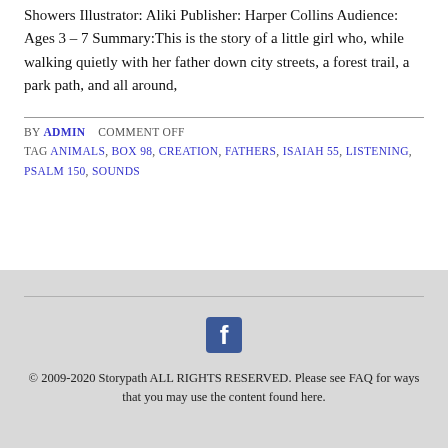Showers Illustrator: Aliki Publisher: Harper Collins Audience: Ages 3 – 7 Summary:This is the story of a little girl who, while walking quietly with her father down city streets, a forest trail, a park path, and all around,
BY ADMIN   COMMENT OFF
TAG ANIMALS, BOX 98, CREATION, FATHERS, ISAIAH 55, LISTENING, PSALM 150, SOUNDS
[Figure (logo): Facebook logo icon square blue with white F]
© 2009-2020 Storypath ALL RIGHTS RESERVED. Please see FAQ for ways that you may use the content found here.